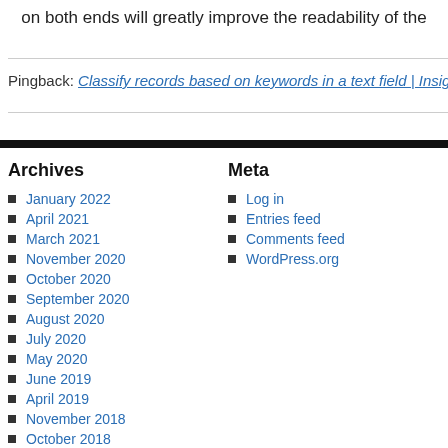on both ends will greatly improve the readability of the
Pingback: Classify records based on keywords in a text field | Insights Through
Archives
January 2022
April 2021
March 2021
November 2020
October 2020
September 2020
August 2020
July 2020
May 2020
June 2019
April 2019
November 2018
October 2018
August 2018
July 2018
Meta
Log in
Entries feed
Comments feed
WordPress.org